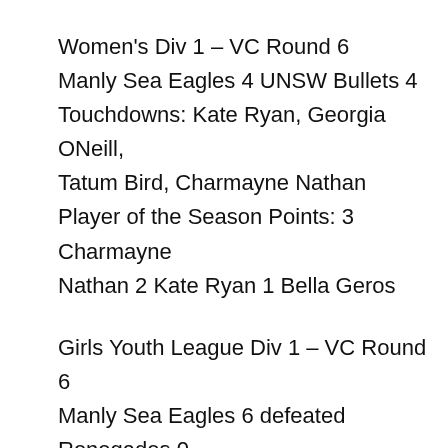Women's Div 1 – VC Round 6
Manly Sea Eagles 4 UNSW Bullets 4
Touchdowns: Kate Ryan, Georgia ONeill, Tatum Bird, Charmayne Nathan
Player of the Season Points: 3 Charmayne Nathan 2 Kate Ryan 1 Bella Geros
Girls Youth League Div 1 – VC Round 6
Manly Sea Eagles 6 defeated Renegades 0
Touchdowns: 2 Caitlin Hickey, 2 Gabby Brown, Lala Duff,  Sara Ryan
Player of the Season Points: 3 Caitlin Hickey 2